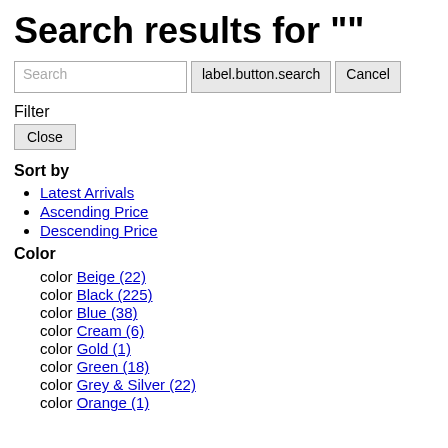Search results for ""
Search | label.button.search | Cancel
Filter
Close
Sort by
Latest Arrivals
Ascending Price
Descending Price
Color
color Beige (22)
color Black (225)
color Blue (38)
color Cream (6)
color Gold (1)
color Green (18)
color Grey & Silver (22)
color Orange (1)